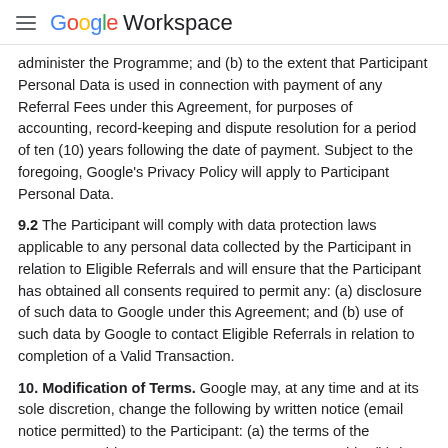Google Workspace
administer the Programme; and (b) to the extent that Participant Personal Data is used in connection with payment of any Referral Fees under this Agreement, for purposes of accounting, record-keeping and dispute resolution for a period of ten (10) years following the date of payment. Subject to the foregoing, Google's Privacy Policy will apply to Participant Personal Data.
9.2 The Participant will comply with data protection laws applicable to any personal data collected by the Participant in relation to Eligible Referrals and will ensure that the Participant has obtained all consents required to permit any: (a) disclosure of such data to Google under this Agreement; and (b) use of such data by Google to contact Eligible Referrals in relation to completion of a Valid Transaction.
10. Modification of Terms. Google may, at any time and at its sole discretion, change the following by written notice (email notice permitted) to the Participant: (a) the terms of the Programme, this Agreement or any Programme Guide; (b) the amount of or method of calculating Referral Fees; (c) the requirements for Eligible Referrals or Valid Transactions; or (d) the Customised URL, Incentives and/or Incentive Terms. If Google notifies the Participant of an updated